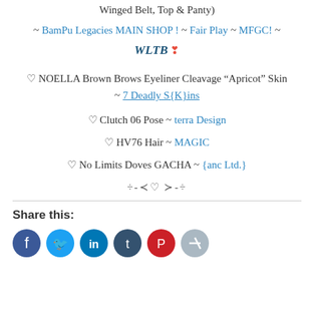Winged Belt, Top & Panty)
~ BamPu Legacies MAIN SHOP ! ~ Fair Play ~ MFGC! ~ WLTB ❣
♡ NOELLA Brown Brows Eyeliner Cleavage "Apricot" Skin ~ 7 Deadly S{K}ins
♡ Clutch 06 Pose ~ terra Design
♡ HV76 Hair ~ MAGIC
♡ No Limits Doves GACHA ~ {anc Ltd.}
÷-≺♡ ≻-÷
Share this: